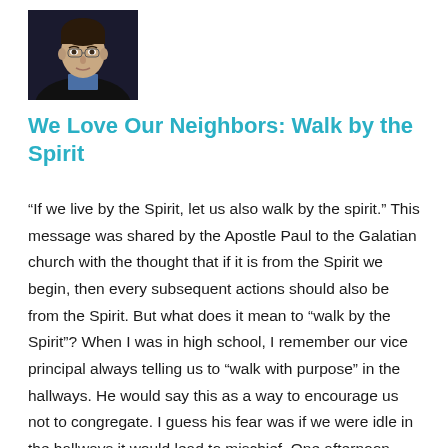[Figure (photo): Portrait photo of a person in a dark jacket against a dark background, cropped to head and upper torso.]
We Love Our Neighbors: Walk by the Spirit
“If we live by the Spirit, let us also walk by the spirit.” This message was shared by the Apostle Paul to the Galatian church with the thought that if it is from the Spirit we begin, then every subsequent actions should also be from the Spirit. But what does it mean to “walk by the Spirit”? When I was in high school, I remember our vice principal always telling us to “walk with purpose” in the hallways. He would say this as a way to encourage us not to congregate. I guess his fear was if we were idle in the hallways it would lead to mischief. One afternoon during junior year, while hanging out near my locker, a friend and I noticed that… …